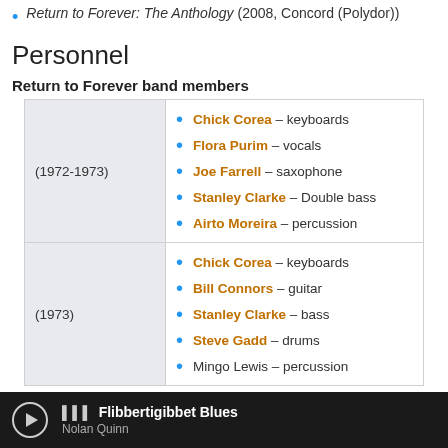Return to Forever: The Anthology (2008, Concord (Polydor))
Personnel
Return to Forever band members
| Year | Members |
| --- | --- |
| (1972-1973) | Chick Corea – keyboards
Flora Purim – vocals
Joe Farrell – saxophone
Stanley Clarke – Double bass
Airto Moreira – percussion |
| (1973) | Chick Corea – keyboards
Bill Connors – guitar
Stanley Clarke – bass
Steve Gadd – drums
Mingo Lewis – percussion |
Flibbertigibbet Blues – Nolan Quinn